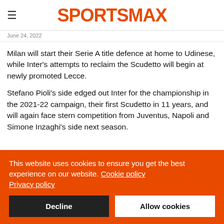SPORTSMAX
June 24, 2022
Milan will start their Serie A title defence at home to Udinese, while Inter's attempts to reclaim the Scudetto will begin at newly promoted Lecce.
Stefano Pioli's side edged out Inter for the championship in the 2021-22 campaign, their first Scudetto in 11 years, and will again face stern competition from Juventus, Napoli and Simone Inzaghi's side next season.
This website uses cookies to ensure you get the best experience on our website. Cookie policy Privacy policy
Decline
Allow cookies